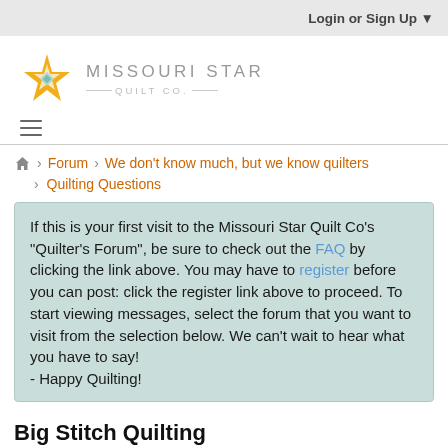Login or Sign Up
[Figure (logo): Missouri Star Quilt Co. logo with star icon and brand name]
≡ (hamburger menu icon)
⌂ > Forum > We don't know much, but we know quilters > Quilting Questions
If this is your first visit to the Missouri Star Quilt Co's "Quilter's Forum", be sure to check out the FAQ by clicking the link above. You may have to register before you can post: click the register link above to proceed. To start viewing messages, select the forum that you want to visit from the selection below. We can't wait to hear what you have to say!
- Happy Quilting!
Big Stitch Quilting